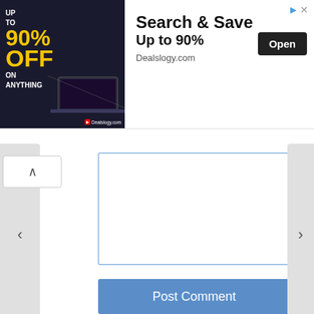[Figure (screenshot): Advertisement banner: 'Search & Save Up to 90% OFF on anything - Dealslogy.com' with Open button and laptop image]
[Figure (screenshot): Text input textarea with blue border for posting a comment]
[Figure (screenshot): Blue 'Post Comment' button]
FIGHT THIS ABUSE – DONATE NOW!
[Figure (infographic): Blue banner with text 'Fight this abuse! Donate Now']